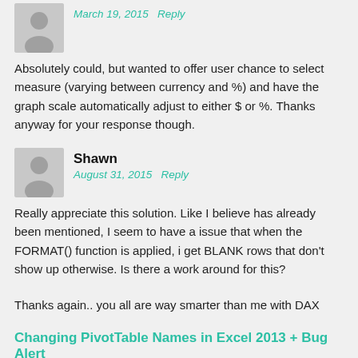March 19, 2015   Reply
Absolutely could, but wanted to offer user chance to select measure (varying between currency and %) and have the graph scale automatically adjust to either $ or %. Thanks anyway for your response though.
Shawn
August 31, 2015   Reply
Really appreciate this solution. Like I believe has already been mentioned, I seem to have a issue that when the FORMAT() function is applied, i get BLANK rows that don't show up otherwise. Is there a work around for this?
Thanks again.. you all are way smarter than me with DAX
Changing PivotTable Names in Excel 2013 + Bug Alert
November 22, 2015   Reply
[...] of this demo, let us use the PowerPivot file that I created in Excel 2010 for my last post – Measure Selection using